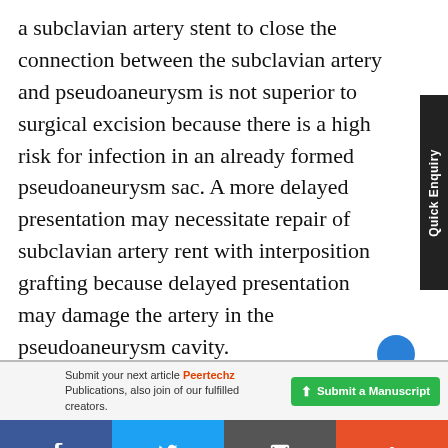a subclavian artery stent to close the connection between the subclavian artery and pseudoaneurysm is not superior to surgical excision because there is a high risk for infection in an already formed pseudoaneurysm sac. A more delayed presentation may necessitate repair of subclavian artery rent with interposition grafting because delayed presentation may damage the artery in the pseudoaneurysm cavity.
Submit your next article Peertechz Publications, also join of our fulfilled creators.
Submit a Manuscript